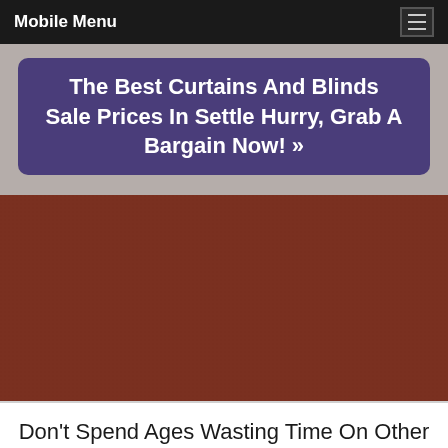Mobile Menu
The Best Curtains And Blinds Sale Prices In Settle Hurry, Grab A Bargain Now! »
[Figure (photo): Dark reddish-brown background image, likely curtains or fabric texture]
Don't Spend Ages Wasting Time On Other Curtains And Blinds Sales In The Settle Area. We Have Loads Of Curtains And Blindss In Stock Right Now, This Instant! And Our Prices Are The